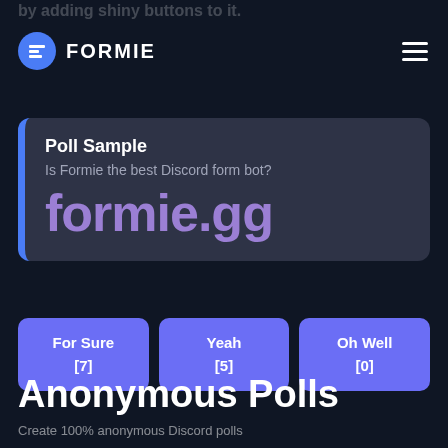by adding shiny buttons to it.
FORMIE
[Figure (screenshot): Poll sample card with blue left border on dark background, showing 'Poll Sample' heading, 'Is Formie the best Discord form bot?' question, and large purple 'formie.gg' URL text]
For Sure [7]
Yeah [5]
Oh Well [0]
Anonymous Polls
Create 100% anonymous Discord polls